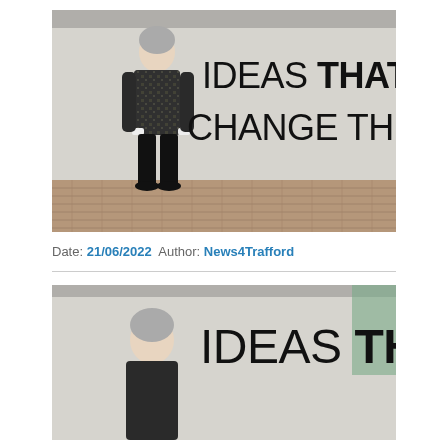[Figure (photo): A woman with short grey hair wearing a black and white patterned top and black trousers, standing in front of a large grey wall with the text 'IDEAS THAT CHANGE THE WORLD' painted in large black block letters. The ground shows brick paving.]
Date: 21/06/2022  Author: News4Trafford
[Figure (photo): A cropped/partial view of the same woman standing in front of the same grey wall showing partial text 'IDEAS THAT' in large black block letters — a second instance or cropped repeat of the top photo.]